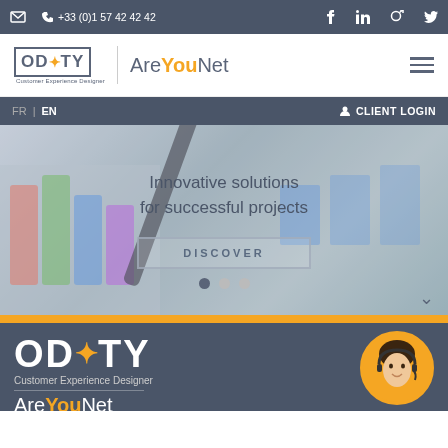+33 (0)1 57 42 42 42
[Figure (screenshot): OD*TY Customer Experience Designer logo with AreYouNet brand name and hamburger menu]
FR | EN   CLIENT LOGIN
[Figure (photo): Blurred background photo of colorful financial charts with a pen, overlaid with text: Innovative solutions for successful projects and a DISCOVER button]
Innovative solutions for successful projects
DISCOVER
[Figure (logo): OD*TY Customer Experience Designer large white logo on dark blue background with AreYouNet text below]
Customer Experience Designer